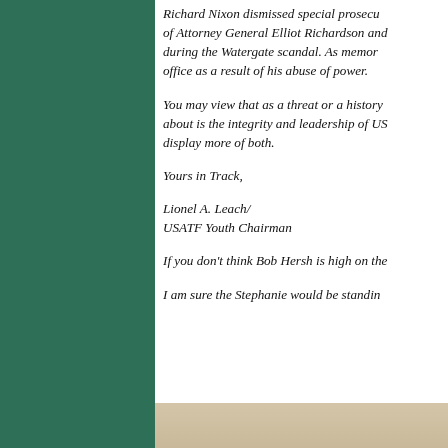Richard Nixon dismissed special prosecutor... of Attorney General Elliot Richardson and... during the Watergate scandal. As memory... office as a result of his abuse of power.
You may view that as a threat or a history... about is the integrity and leadership of US... display more of both.
Yours in Track,
Lionel A. Leach/ USATF Youth Chairman
If you don't think Bob Hersh is high on the...
I am sure the Stephanie would be standin...
[Figure (photo): Beige/tan colored image strip at the bottom of the page]